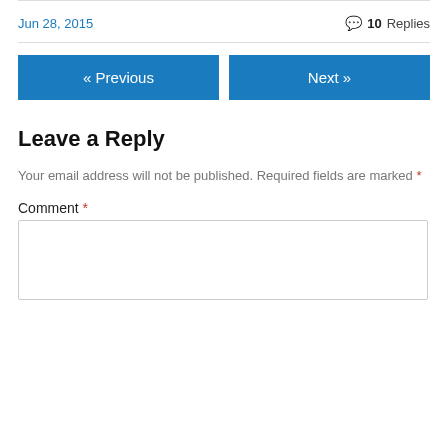Jun 28, 2015
💬 10 Replies
« Previous
Next »
Leave a Reply
Your email address will not be published. Required fields are marked *
Comment *